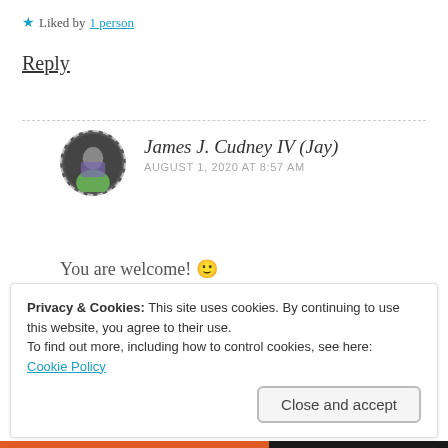★ Liked by 1 person
Reply
James J. Cudney IV (Jay)
AUGUST 1, 2020 AT 8:57 AM
You are welcome! 🙂
★ Liked by 1 person
Privacy & Cookies: This site uses cookies. By continuing to use this website, you agree to their use.
To find out more, including how to control cookies, see here:
Cookie Policy
Close and accept